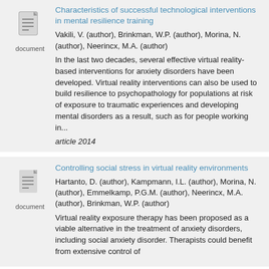Characteristics of successful technological interventions in mental resilience training
Vakili, V. (author), Brinkman, W.P. (author), Morina, N. (author), Neerincx, M.A. (author)
In the last two decades, several effective virtual reality-based interventions for anxiety disorders have been developed. Virtual reality interventions can also be used to build resilience to psychopathology for populations at risk of exposure to traumatic experiences and developing mental disorders as a result, such as for people working in...
article 2014
Controlling social stress in virtual reality environments
Hartanto, D. (author), Kampmann, I.L. (author), Morina, N. (author), Emmelkamp, P.G.M. (author), Neerincx, M.A. (author), Brinkman, W.P. (author)
Virtual reality exposure therapy has been proposed as a viable alternative in the treatment of anxiety disorders, including social anxiety disorder. Therapists could benefit from extensive control of...